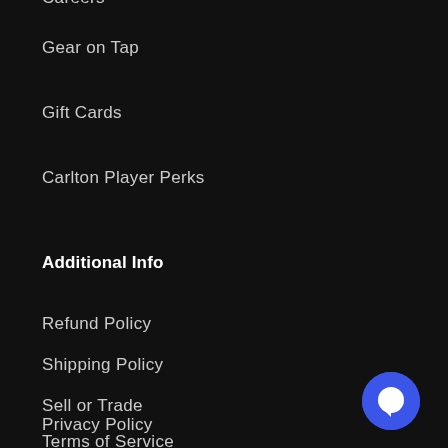Careers
Gear on Tap
Gift Cards
Carlton Player Perks
Additional Info
Refund Policy
Shipping Policy
Sell or Trade
Privacy Policy
Terms of Service
[Figure (other): Blue circular chat/messaging button icon in bottom right corner]